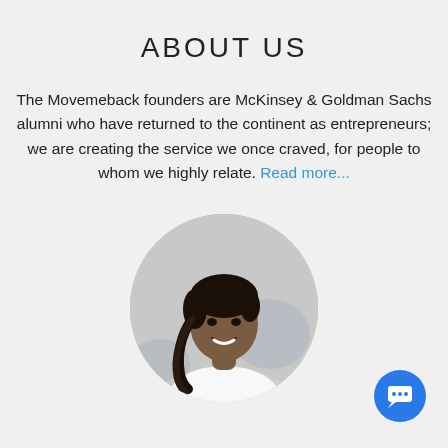ABOUT US
The Movemeback founders are McKinsey & Goldman Sachs alumni who have returned to the continent as entrepreneurs; we are creating the service we once craved, for people to whom we highly relate. Read more...
[Figure (photo): Circular portrait photo of a young Black woman with braided hair, smiling, wearing a white top, against a blurred outdoor background.]
[Figure (illustration): Blue circular chat/messaging button icon in the bottom-right corner.]